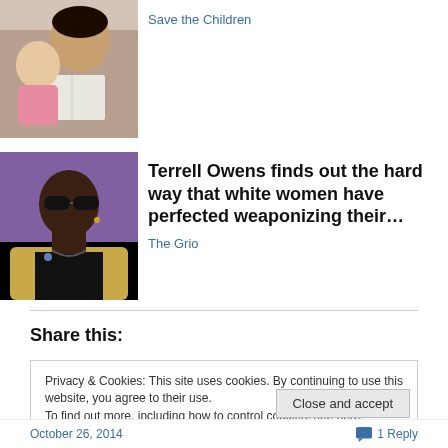[Figure (photo): Adult and baby reading a book together, baby in pink]
Save the Children
[Figure (photo): Man wearing sunglasses and tan blazer with black shirt, looking to the side]
Terrell Owens finds out the hard way that white women have perfected weaponizing their…
The Grio
Share this:
Privacy & Cookies: This site uses cookies. By continuing to use this website, you agree to their use.
To find out more, including how to control cookies, see here: Cookie Policy
Close and accept
October 26, 2014   1 Reply